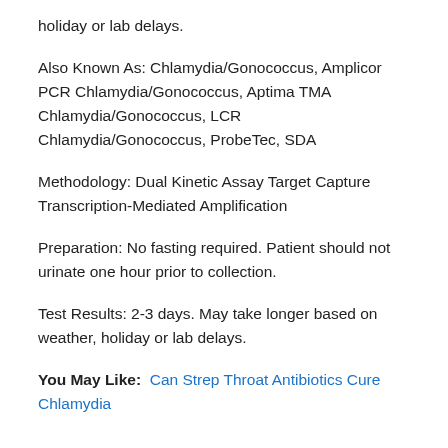holiday or lab delays.
Also Known As: Chlamydia/Gonococcus, Amplicor PCR Chlamydia/Gonococcus, Aptima TMA Chlamydia/Gonococcus, LCR Chlamydia/Gonococcus, ProbeTec, SDA
Methodology: Dual Kinetic Assay Target Capture Transcription-Mediated Amplification
Preparation: No fasting required. Patient should not urinate one hour prior to collection.
Test Results: 2-3 days. May take longer based on weather, holiday or lab delays.
You May Like: Can Strep Throat Antibiotics Cure Chlamydia